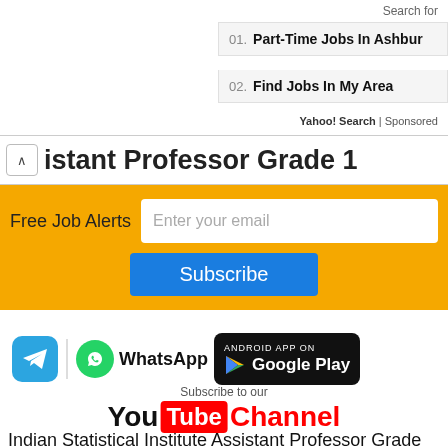Search for
01. Part-Time Jobs In Ashburn
02. Find Jobs In My Area
Yahoo! Search | Sponsored
Assistant Professor Grade 1
Free Job Alerts
Enter your email
Subscribe
[Figure (logo): Telegram icon, WhatsApp icon, and Google Play badge]
[Figure (logo): YouTube Subscribe to our YouTube Channel banner]
Indian Statistical Institute Assistant Professor Grade